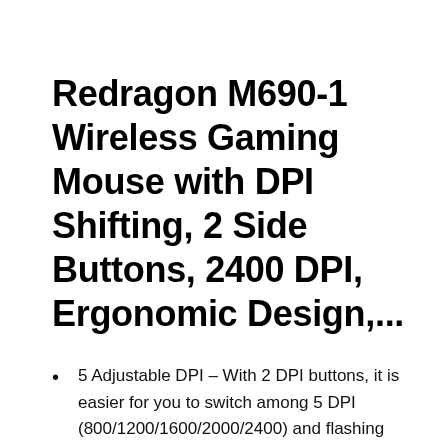Redragon M690-1 Wireless Gaming Mouse with DPI Shifting, 2 Side Buttons, 2400 DPI, Ergonomic Design,...
5 Adjustable DPI – With 2 DPI buttons, it is easier for you to switch among 5 DPI (800/1200/1600/2000/2400) and flashing light will indicate you…
Comfort & Precision At Your Fingertips – The Redragon wireless gaming mouse is an essential computer accessory for die-hard gamers! You will be…